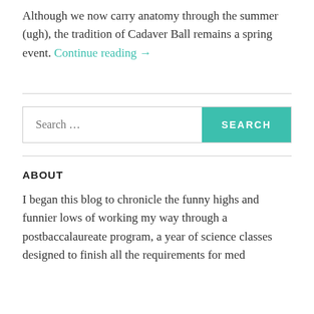Although we now carry anatomy through the summer (ugh), the tradition of Cadaver Ball remains a spring event. Continue reading →
Search ...
ABOUT
I began this blog to chronicle the funny highs and funnier lows of working my way through a postbaccalaureate program, a year of science classes designed to finish all the requirements for med